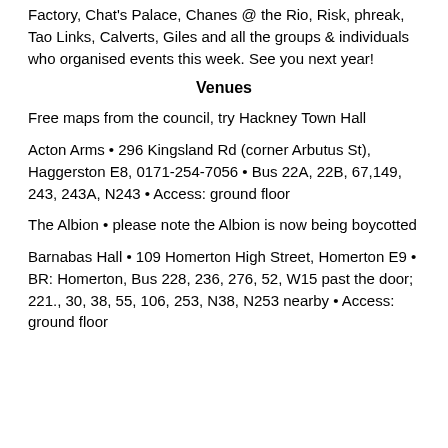Factory, Chat's Palace, Chanes @ the Rio, Risk, phreak, Tao Links, Calverts, Giles and all the groups & individuals who organised events this week. See you next year!
Venues
Free maps from the council, try Hackney Town Hall
Acton Arms • 296 Kingsland Rd (corner Arbutus St), Haggerston E8, 0171-254-7056 • Bus 22A, 22B, 67,149, 243, 243A, N243 • Access: ground floor
The Albion • please note the Albion is now being boycotted
Barnabas Hall • 109 Homerton High Street, Homerton E9 • BR: Homerton, Bus 228, 236, 276, 52, W15 past the door; 221., 30, 38, 55, 106, 253, N38, N253 nearby • Access: ground floor